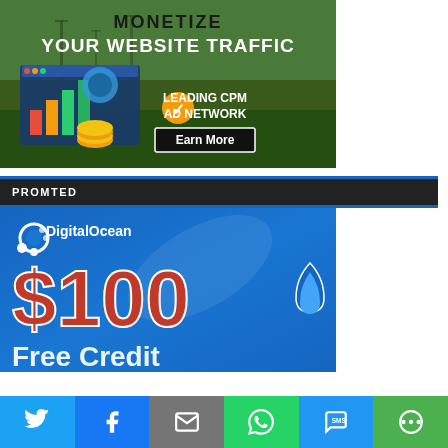[Figure (photo): Advertisement banner: MONETIZE YOUR WEBSITE TRAFFIC - LEADING CPM AD NETWORK with Earn More button, green background with wind turbines and digital marketing graphics]
PROMTED
[Figure (photo): DigitalOcean advertisement banner showing $100 Free Credit offer on blue gradient background with DigitalOcean logo]
[Figure (infographic): Social sharing toolbar with Twitter, Facebook, Email, WhatsApp, SMS, and More buttons]